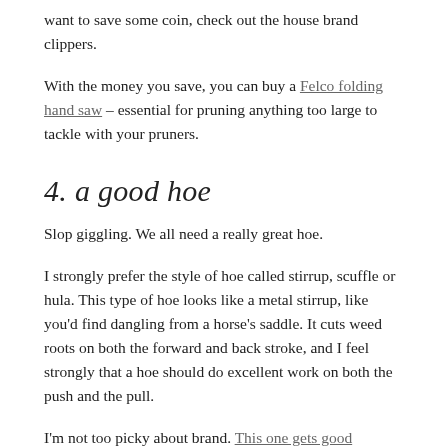want to save some coin, check out the house brand clippers.
With the money you save, you can buy a Felco folding hand saw – essential for pruning anything too large to tackle with your pruners.
4. a good hoe
Slop giggling. We all need a really great hoe.
I strongly prefer the style of hoe called stirrup, scuffle or hula. This type of hoe looks like a metal stirrup, like you'd find dangling from a horse's saddle. It cuts weed roots on both the forward and back stroke, and I feel strongly that a hoe should do excellent work on both the push and the pull.
I'm not too picky about brand. This one gets good reviews.